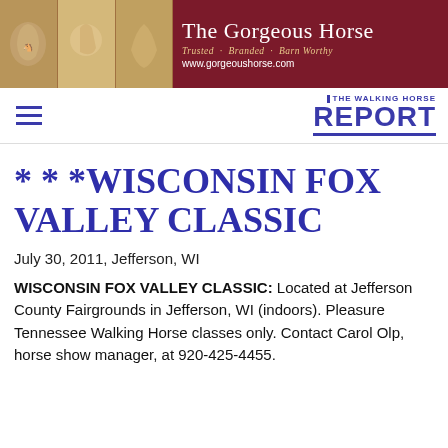[Figure (illustration): Banner advertisement for The Gorgeous Horse with horse jewelry photos on left and dark red background with brand name, tagline 'Trusted - Branded - Barn Worthy' and website www.gorgeoushorse.com]
THE WALKING HORSE REPORT
***WISCONSIN FOX VALLEY CLASSIC
July 30, 2011, Jefferson, WI
WISCONSIN FOX VALLEY CLASSIC: Located at Jefferson County Fairgrounds in Jefferson, WI (indoors). Pleasure Tennessee Walking Horse classes only. Contact Carol Olp, horse show manager, at 920-425-4455.